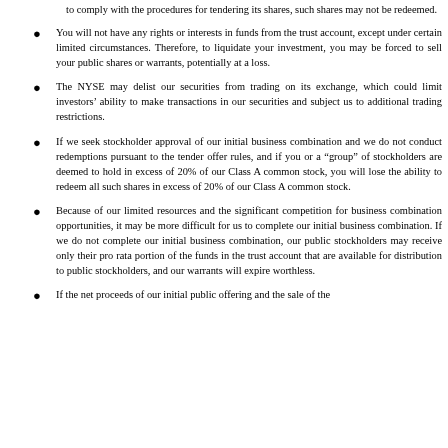to comply with the procedures for tendering its shares, such shares may not be redeemed.
You will not have any rights or interests in funds from the trust account, except under certain limited circumstances. Therefore, to liquidate your investment, you may be forced to sell your public shares or warrants, potentially at a loss.
The NYSE may delist our securities from trading on its exchange, which could limit investors’ ability to make transactions in our securities and subject us to additional trading restrictions.
If we seek stockholder approval of our initial business combination and we do not conduct redemptions pursuant to the tender offer rules, and if you or a “group” of stockholders are deemed to hold in excess of 20% of our Class A common stock, you will lose the ability to redeem all such shares in excess of 20% of our Class A common stock.
Because of our limited resources and the significant competition for business combination opportunities, it may be more difficult for us to complete our initial business combination. If we do not complete our initial business combination, our public stockholders may receive only their pro rata portion of the funds in the trust account that are available for distribution to public stockholders, and our warrants will expire worthless.
If the net proceeds of our initial public offering and the sale of the